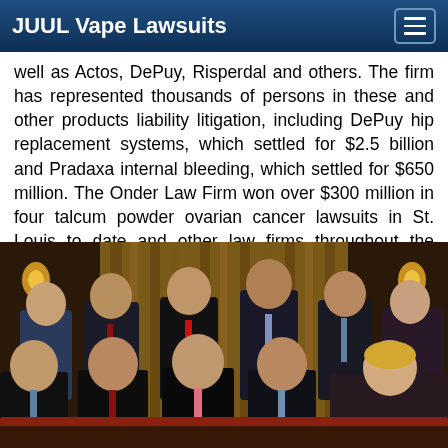JUUL Vape Lawsuits
well as Actos, DePuy, Risperdal and others. The firm has represented thousands of persons in these and other products liability litigation, including DePuy hip replacement systems, which settled for $2.5 billion and Pradaxa internal bleeding, which settled for $650 million. The Onder Law Firm won over $300 million in four talcum powder ovarian cancer lawsuits in St. Louis to date and other law firms throughout the nation often seek its experience and expertise on complex litigation. For more information call 1-877-663-3752.
[Figure (photo): Group photo of approximately 11 lawyers/attorneys from the Onder Law Firm, posed in two rows (standing back row and seated front row) in a formal office or conference room setting with wood paneling and drapes in the background.]